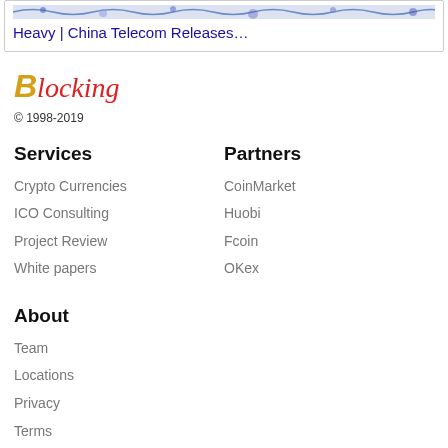[Figure (screenshot): Partial screenshot of a webpage article card showing blue hyperlink-style image strip and article title text 'Heavy | China Telecom Releases…']
[Figure (logo): Blocking logo: gold italic B followed by red italic cursive text 'locking']
© 1998-2019
Services
Partners
Crypto Currencies
CoinMarket
ICO Consulting
Huobi
Project Review
Fcoin
White papers
OKex
About
Team
Locations
Privacy
Terms